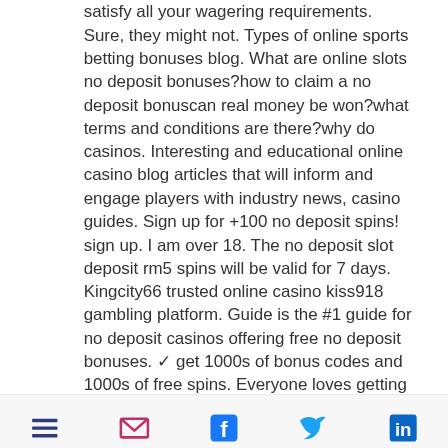satisfy all your wagering requirements. Sure, they might not. Types of online sports betting bonuses blog. What are online slots no deposit bonuses?how to claim a no deposit bonuscan real money be won?what terms and conditions are there?why do casinos. Interesting and educational online casino blog articles that will inform and engage players with industry news, casino guides. Sign up for +100 no deposit spins! sign up. I am over 18. The no deposit slot deposit rm5 spins will be valid for 7 days. Kingcity66 trusted online casino kiss918 gambling platform. Guide is the #1 guide for no deposit casinos offering free no deposit bonuses. ✓ get 1000s of bonus codes and 1000s of free spins. Everyone loves getting something for nothing, especially when that something is cash. Believe it or not: there are legitimate
[Figure (other): Footer bar with five social/sharing icons: a list/menu icon (dark blue), an email envelope icon (pink/magenta), a Facebook icon (blue), a Twitter bird icon (cyan/blue), and a LinkedIn 'in' icon (dark blue)]